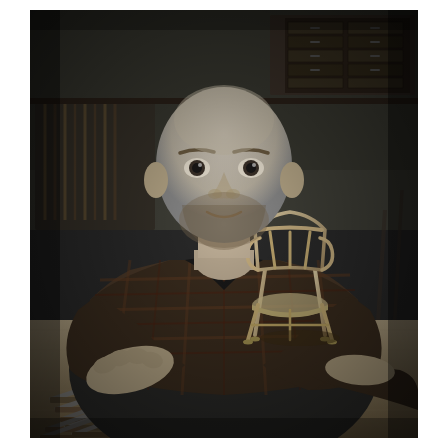[Figure (photo): Black and white portrait photograph of a bald man with a beard wearing a plaid flannel shirt over a black t-shirt, sitting at a woodworking bench in a workshop. He is holding a small handmade wooden chair model/miniature on the workbench in front of him. Woodworking chisels and tools are laid out on the bench. In the background are shelves with woodworking tools, drawers, and workshop equipment.]